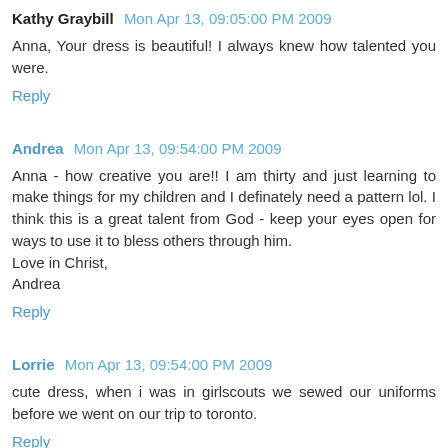Kathy Graybill  Mon Apr 13, 09:05:00 PM 2009
Anna, Your dress is beautiful! I always knew how talented you were.
Reply
Andrea  Mon Apr 13, 09:54:00 PM 2009
Anna - how creative you are!! I am thirty and just learning to make things for my children and I definately need a pattern lol. I think this is a great talent from God - keep your eyes open for ways to use it to bless others through him.
Love in Christ,
Andrea
Reply
Lorrie  Mon Apr 13, 09:54:00 PM 2009
cute dress, when i was in girlscouts we sewed our uniforms before we went on our trip to toronto.
Reply